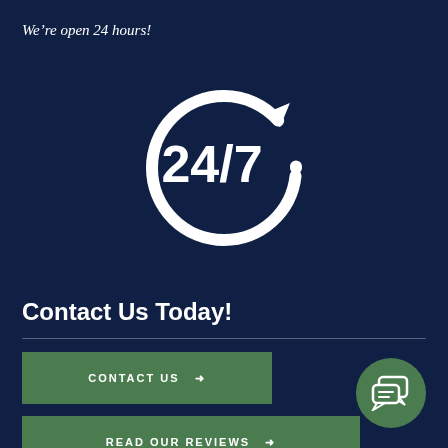We're open 24 hours!
[Figure (illustration): 24/7 circular arrow icon in white on dark navy background]
Contact Us Today!
CONTACT US ❯
READ OUR REVIEWS ❯
[Figure (illustration): Green circle with white chat/message bubbles icon]